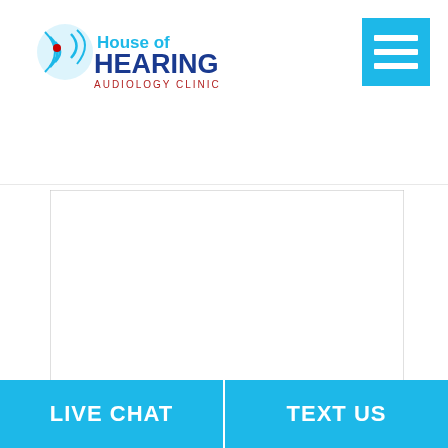[Figure (logo): House of Hearing Audiology Clinic logo with sound wave icon]
[Figure (screenshot): Hamburger menu button (three horizontal white bars on cyan/blue background)]
[Figure (screenshot): Text area input field, empty, with resize handle]
[Figure (screenshot): reCAPTCHA widget with checkbox, 'I'm not a robot' text, and reCAPTCHA logo/text at bottom]
LIVE CHAT
TEXT US